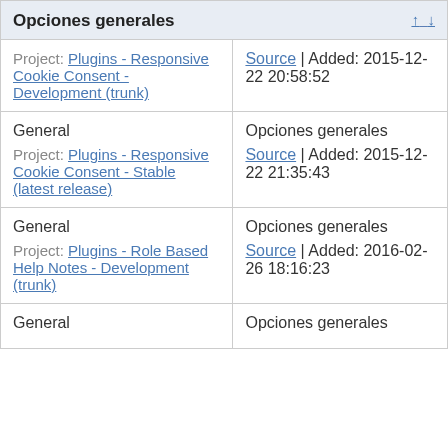| Opciones generales |  |
| --- | --- |
| Project: Plugins - Responsive Cookie Consent - Development (trunk) | Source | Added: 2015-12-22 20:58:52 |
| General
Project: Plugins - Responsive Cookie Consent - Stable (latest release) | Opciones generales
Source | Added: 2015-12-22 21:35:43 |
| General
Project: Plugins - Role Based Help Notes - Development (trunk) | Opciones generales
Source | Added: 2016-02-26 18:16:23 |
| General | Opciones generales |